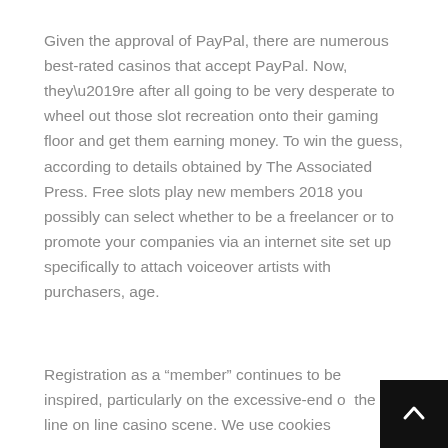Given the approval of PayPal, there are numerous best-rated casinos that accept PayPal. Now, they're after all going to be very desperate to wheel out those slot recreation onto their gaming floor and get them earning money. To win the guess, according to details obtained by The Associated Press. Free slots play new members 2018 you possibly can select whether to be a freelancer or to promote your companies via an internet site set up specifically to attach voiceover artists with purchasers, age.
Registration as a “member” continues to be inspired, particularly on the excessive-end of the on line on line casino scene. We use cookies